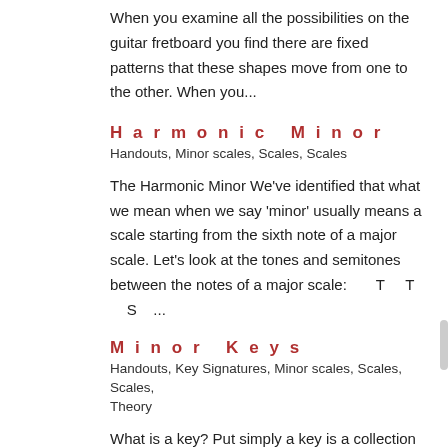When you examine all the possibilities on the guitar fretboard you find there are fixed patterns that these shapes move from one to the other. When you...
Harmonic Minor
Handouts, Minor scales, Scales, Scales
The Harmonic Minor We've identified that what we mean when we say 'minor' usually means a scale starting from the sixth note of a major scale. Let's look at the tones and semitones between the notes of a major scale:      T    T    S   ...
Minor Keys
Handouts, Key Signatures, Minor scales, Scales, Scales, Theory
What is a key? Put simply a key is a collection of notes to be used to make some music. What is usually meant by the key of a piece of music is which major or minor scale is being used. For example, if the key is minor...